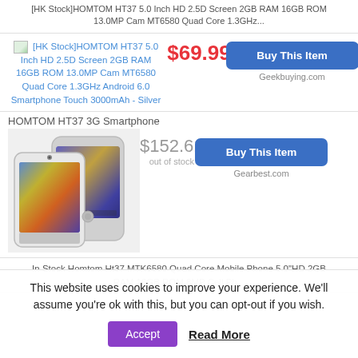[HK Stock]HOMTOM HT37 5.0 Inch HD 2.5D Screen 2GB RAM 16GB ROM 13.0MP Cam MT6580 Quad Core 1.3GHz...
[HK Stock]HOMTOM HT37 5.0 Inch HD 2.5D Screen 2GB RAM 16GB ROM 13.0MP Cam MT6580 Quad Core 1.3GHz Android 6.0 Smartphone Touch 3000mAh - Silver
$69.99
Buy This Item
Geekbuying.com
HOMTOM HT37 3G Smartphone
[Figure (photo): Silver HOMTOM HT37 smartphone front and back view]
$152.61
out of stock
Buy This Item
Gearbest.com
In Stock Homtom Ht37 MTK6580 Quad Core Mobile Phone 5.0"HD 2GB RAM 16GB ROM 8MP Cell Ph...
This website uses cookies to improve your experience. We'll assume you're ok with this, but you can opt-out if you wish.
Accept
Read More